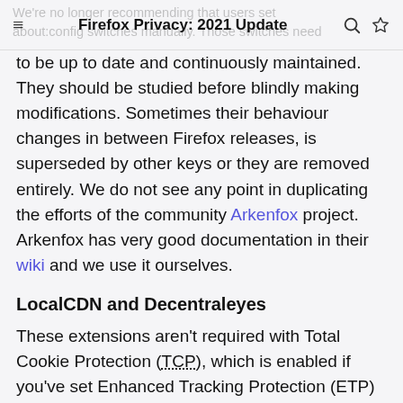Firefox Privacy: 2021 Update
We're no longer recommending that users set about:config switches manually. Those switches need to be up to date and continuously maintained. They should be studied before blindly making modifications. Sometimes their behaviour changes in between Firefox releases, is superseded by other keys or they are removed entirely. We do not see any point in duplicating the efforts of the community Arkenfox project. Arkenfox has very good documentation in their wiki and we use it ourselves.
LocalCDN and Decentraleyes
These extensions aren't required with Total Cookie Protection (TCP), which is enabled if you've set Enhanced Tracking Protection (ETP) to Strict.
Replacing scripts on CDNs with local versions is not a comprehensive solution and is a form of enumeration of